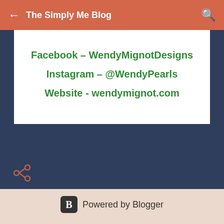The Simply Me Blog
Facebook – WendyMignotDesigns
Instagram – @WendyPearls
Website - wendymignot.com
Powered by Blogger